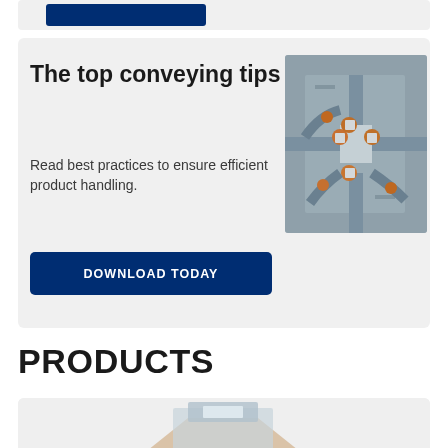[Figure (other): Blue download button cropped at top of page inside a light gray card]
The top conveying tips
Read best practices to ensure efficient product handling.
[Figure (photo): Aerial view of industrial conveying/piping system with orange fittings and gray pipework]
DOWNLOAD TODAY
PRODUCTS
[Figure (photo): Partial product image inside a light gray card at the bottom of the page, showing what appears to be a conveying component]